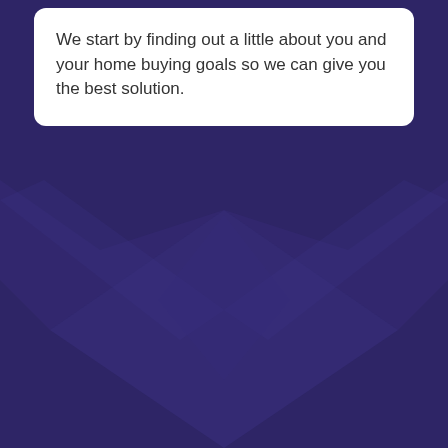We start by finding out a little about you and your home buying goals so we can give you the best solution.
[Figure (illustration): Dark purple background with a subtle lighter purple geometric X or diamond pattern in the lower portion of the page]